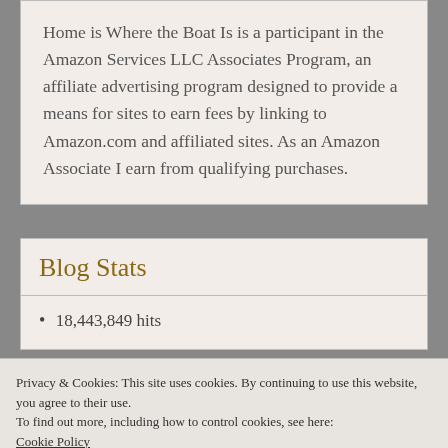Home is Where the Boat Is is a participant in the Amazon Services LLC Associates Program, an affiliate advertising program designed to provide a means for sites to earn fees by linking to Amazon.com and affiliated sites. As an Amazon Associate I earn from qualifying purchases.
Blog Stats
18,443,849 hits
Privacy & Cookies: This site uses cookies. By continuing to use this website, you agree to their use.
To find out more, including how to control cookies, see here:
Cookie Policy